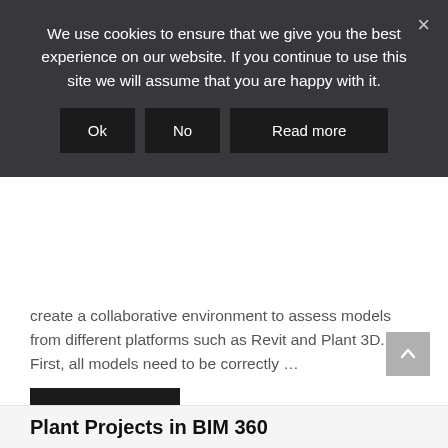We use cookies to ensure that we give you the best experience on our website. If you continue to use this site we will assume that you are happy with it.
Ok | No | Read more
create a collaborative environment to assess models from different platforms such as Revit and Plant 3D. First, all models need to be correctly …
Read more
AutoCAD, BIM 360, Plant 3D
AutoCAD, BIM 360, BIM 360 Design, BIM 360 Docs, Model Coordination, Plant 3D, Plant 3D Collabortae
Plant Projects in BIM 360